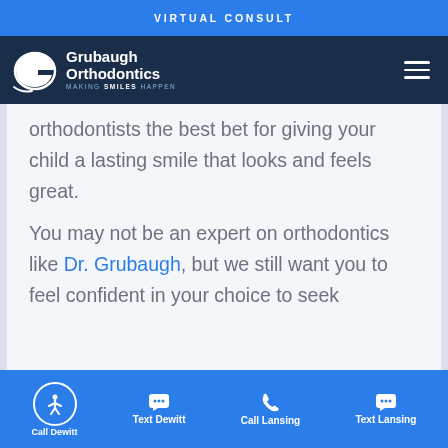VIRTUAL CONSULT
[Figure (logo): Grubaugh Orthodontics logo with stylized G and tagline MAKING SMILES HAPPEN on dark navy background]
orthodontists the best bet for giving your child a lasting smile that looks and feels great.
You may not be an expert on orthodontics like Dr. Grubaugh, but we still want you to feel confident in your choice to seek orthodontic care for your child.
Call Dewitt  Text Dewitt  Call Lansing  Text Lansing